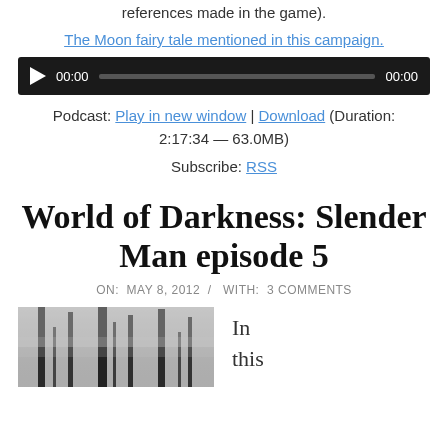references made in the game).
The Moon fairy tale mentioned in this campaign.
[Figure (other): Audio player widget with play button, time display 00:00, progress bar, and end time 00:00 on dark background]
Podcast: Play in new window | Download (Duration: 2:17:34 — 63.0MB)
Subscribe: RSS
World of Darkness: Slender Man episode 5
ON: MAY 8, 2012 / WITH: 3 COMMENTS
[Figure (photo): Black and white photo of misty forest with tall trees]
In this